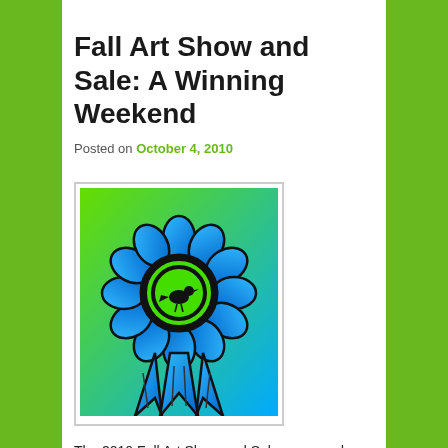Fall Art Show and Sale: A Winning Weekend
Posted on October 4, 2010
[Figure (illustration): Blue ribbon award rosette with a bird silhouette in the center, illustrated in blue and green gradient colors with black outlines]
The 2010 Fall Art Show and Sale  wrapped up Sunday October 3 with visitors remarking that it was one of the best shows ever. Many comments referred to the